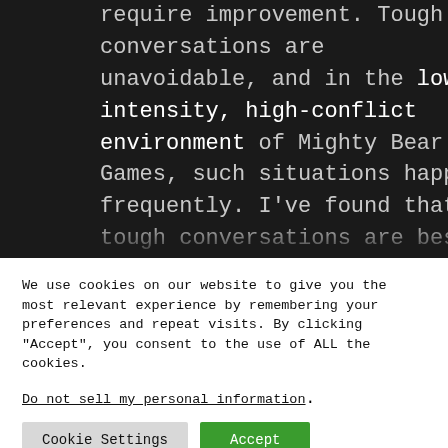require improvement. Tough conversations are unavoidable, and in the low-intensity, high-conflict environment of Mighty Bear Games, such situations happen frequently. I've found that tough conversations are best managed with honesty and openness, and by talking to them in a way that's uniquely, positively
We use cookies on our website to give you the most relevant experience by remembering your preferences and repeat visits. By clicking "Accept", you consent to the use of ALL the cookies. Do not sell my personal information.